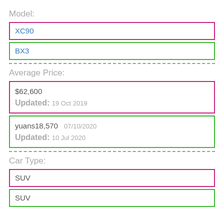Model:
XC90
BX3
Average Price:
$62,600 Updated: 19 Oct 2019
yuans18,570 07/10/2020 Updated: 10 Jul 2020
Car Type:
SUV
SUV